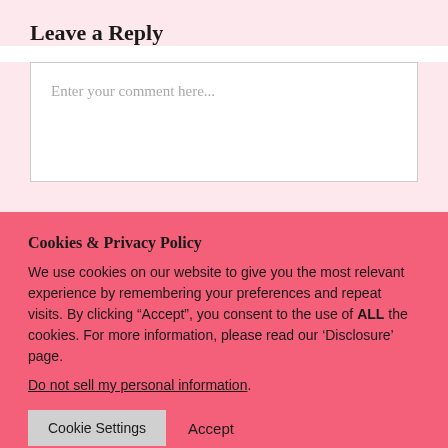Leave a Reply
Enter your comment here...
Cookies & Privacy Policy
We use cookies on our website to give you the most relevant experience by remembering your preferences and repeat visits. By clicking “Accept”, you consent to the use of ALL the cookies. For more information, please read our ‘Disclosure’ page.
Do not sell my personal information.
Cookie Settings   Accept
[Figure (other): Social media sharing buttons row: Facebook (f), Twitter (bird), Pinterest (P), LinkedIn (in), Reddit (alien), Mix (m), Flipboard (f), Email, More (+)]